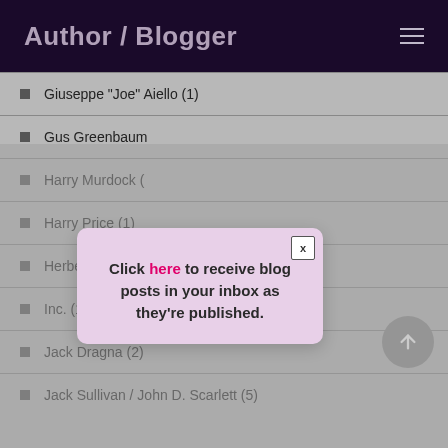Author / Blogger
Giuseppe "Joe" Aiello (1)
Gus Greenbaum
Harry Murdock
Harry Price (1)
Herbert C. Sousa
Inc. (1)
Jack Dragna (2)
Jack Sullivan / John D. Scarlett (5)
[Figure (other): Modal popup dialog with pink/lavender background and close button (X). Text reads: Click here to receive blog posts in your inbox as they're published.]